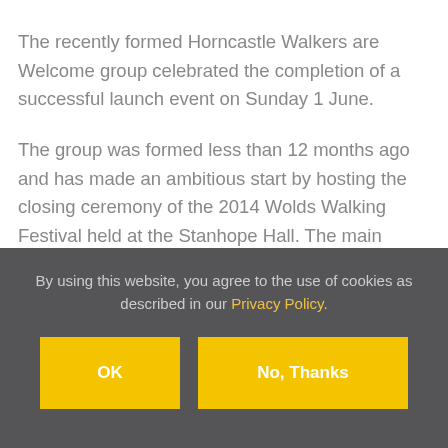The recently formed Horncastle Walkers are Welcome group celebrated the completion of a successful launch event on Sunday 1 June.
The group was formed less than 12 months ago and has made an ambitious start by hosting the closing ceremony of the 2014 Wolds Walking Festival held at the Stanhope Hall. The main objective of the group is to...
By using this website, you agree to the use of cookies as described in our Privacy Policy.